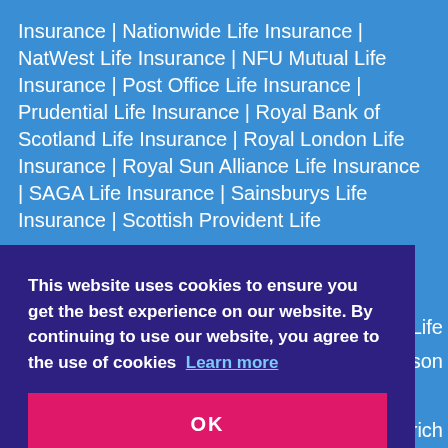Insurance | Nationwide Life Insurance | NatWest Life Insurance | NFU Mutual Life Insurance | Post Office Life Insurance | Prudential Life Insurance | Royal Bank of Scotland Life Insurance | Royal London Life Insurance | Royal Sun Alliance Life Insurance | SAGA Life Insurance | Sainsburys Life Insurance | Scottish Provident Life
This website uses cookies to ensure you get the best experience on our website. By continuing to use our website, you agree to the use of cookies Learn more
OK